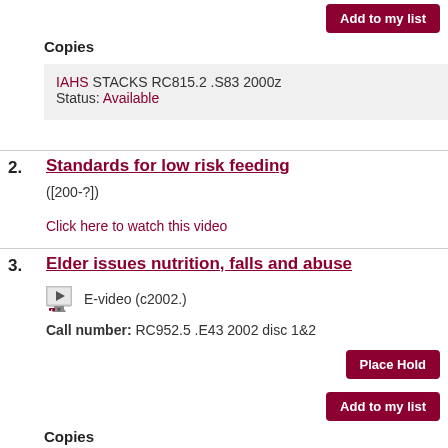Add to my list
Copies
IAHS STACKS RC815.2 .S83 2000z
Status: Available
2.
Standards for low risk feeding
([200-?])
Click here to watch this video
3.
Elder issues nutrition, falls and abuse
E-video (c2002.)
Call number: RC952.5 .E43 2002 disc 1&2
Place Hold
Add to my list
Copies